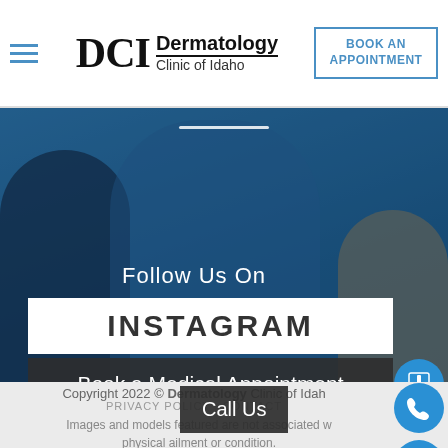DCI Dermatology Clinic of Idaho — BOOK AN APPOINTMENT
[Figure (photo): Hero image showing a person in blue tones, with slide indicator bar and social media callout overlay reading 'Follow Us On' and an Instagram button]
Follow Us On
INSTAGRAM
Book a Medical Appointment
Book a Cosmetic Appointment
Call Us
Copyright 2022 © Dermatology Clinic of Idaho
PRIVACY POLICY   CONTACT
Images and models featured are not associated with any physical ailment or condition.